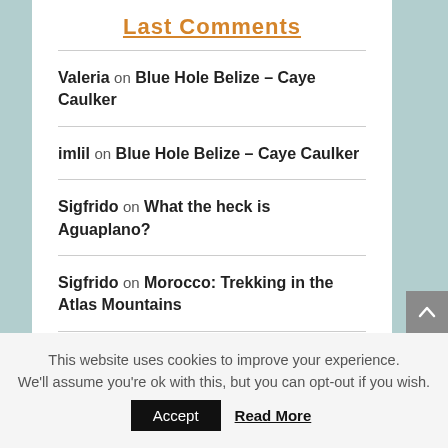Last Comments
Valeria on Blue Hole Belize – Caye Caulker
imlil on Blue Hole Belize – Caye Caulker
Sigfrido on What the heck is Aguaplano?
Sigfrido on Morocco: Trekking in the Atlas Mountains
imlil on Morocco: Trekking in the Atlas Mountains
This website uses cookies to improve your experience. We'll assume you're ok with this, but you can opt-out if you wish. Accept Read More